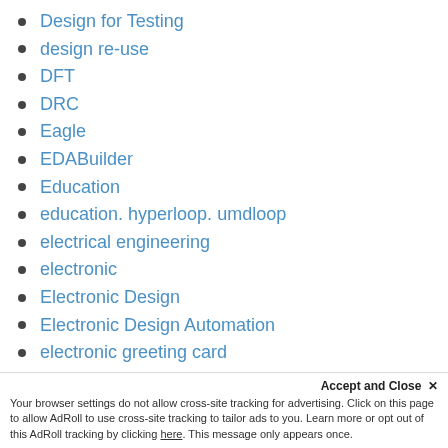Design for Testing
design re-use
DFT
DRC
Eagle
EDABuilder
Education
education. hyperloop. umdloop
electrical engineering
electronic
Electronic Design
Electronic Design Automation
electronic greeting card
EMA
EMA Corporate
EMI
Accept and Close ✕
Your browser settings do not allow cross-site tracking for advertising. Click on this page to allow AdRoll to use cross-site tracking to tailor ads to you. Learn more or opt out of this AdRoll tracking by clicking here. This message only appears once.